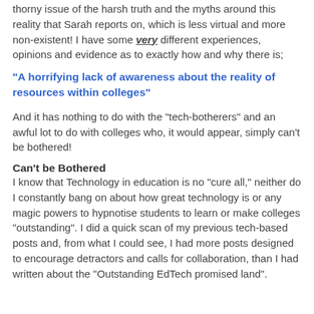thorny issue of the harsh truth and the myths around this reality that Sarah reports on, which is less virtual and more non-existent! I have some very different experiences, opinions and evidence as to exactly how and why there is;
"A horrifying lack of awareness about the reality of resources within colleges"
And it has nothing to do with the "tech-botherers" and an awful lot to do with colleges who, it would appear, simply can't be bothered!
Can't be Bothered
I know that Technology in education is no "cure all," neither do I constantly bang on about how great technology is or any magic powers to hypnotise students to learn or make colleges "outstanding". I did a quick scan of my previous tech-based posts and, from what I could see, I had more posts designed to encourage detractors and calls for collaboration, than I had written about the "Outstanding EdTech promised land".